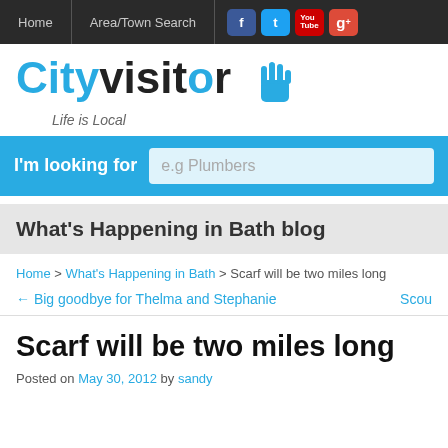Home | Area/Town Search
[Figure (logo): Cityvisitor logo with 'Life is Local' tagline and hand pointer icon]
I'm looking for   e.g Plumbers
What's Happening in Bath blog
Home > What's Happening in Bath > Scarf will be two miles long
← Big goodbye for Thelma and Stephanie   Scou
Scarf will be two miles long
Posted on May 30, 2012 by sandy